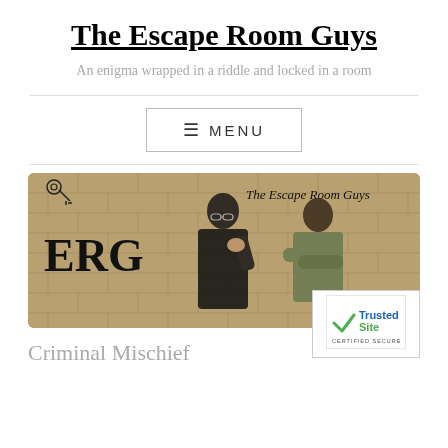The Escape Room Guys
An enigma wrapped in a riddle and locked in a room
[Figure (screenshot): Navigation menu button with hamburger icon and MENU text, bordered box]
[Figure (photo): Two men posing back to back against a brick wall with ERG logo text and 'The Escape Room Guys' branding]
Criminal Mischief
[Figure (logo): TrustedSite Certified Secure badge with green checkmark]